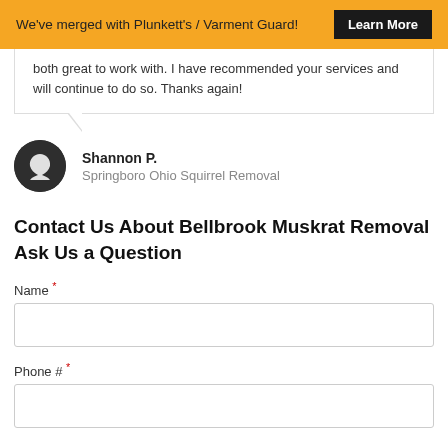We've merged with Plunkett's / Varment Guard! Learn More
both great to work with. I have recommended your services and will continue to do so. Thanks again!
Shannon P.
Springboro Ohio Squirrel Removal
Contact Us About Bellbrook Muskrat Removal
Ask Us a Question
Name *
Phone # *